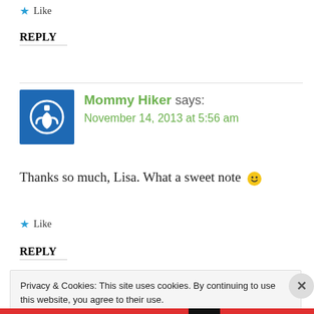★ Like
REPLY
Mommy Hiker says: November 14, 2013 at 5:56 am
Thanks so much, Lisa. What a sweet note 🙂
★ Like
REPLY
Privacy & Cookies: This site uses cookies. By continuing to use this website, you agree to their use. To find out more, including how to control cookies, see here: Cookie Policy
Close and accept